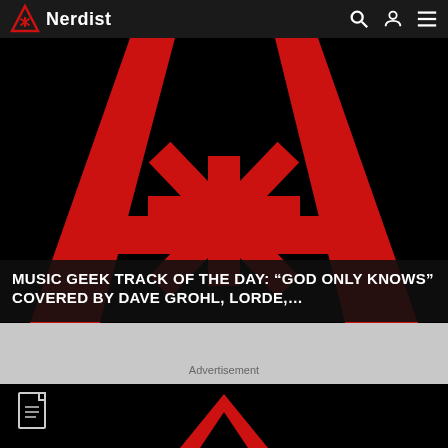Nerdist
[Figure (screenshot): Large Nerdist logo/symbol on black background - red stylized A shape with asterisk in center, forming the Nerdist brand mark]
MUSIC GEEK TRACK OF THE DAY: “GOD ONLY KNOWS” COVERED BY DAVE GROHL, LORDE,…
Advertisement
[Figure (screenshot): Second Nerdist article thumbnail on black background with document icon overlay and partial red Nerdist logo visible]